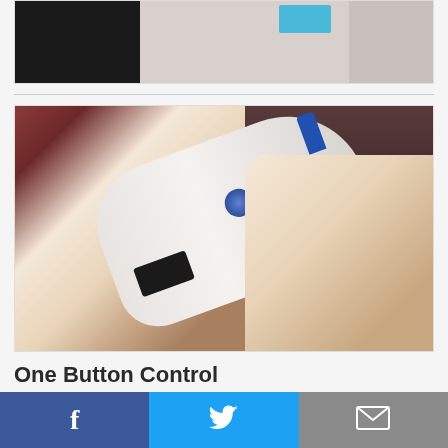[Figure (photo): Partial view of a white electronic device (top portion cropped) against a black background, with a blue label/sticker visible]
[Figure (photo): Person's hands holding a white iPac thermometer device with a blue button and blue tip probe, wearing a suit with striped tie in the background]
One Button Control
Easily access all functions of iPac through a simple single, 5-way control button. Wake up
Facebook | Twitter | Email share buttons